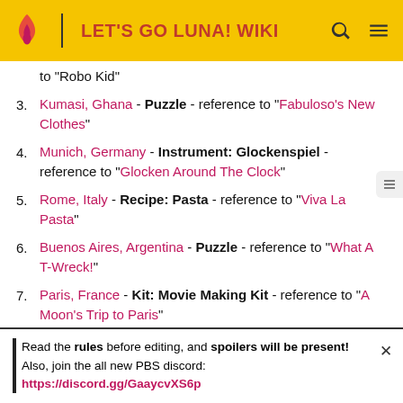LET'S GO LUNA! WIKI
to "Robo Kid"
3. Kumasi, Ghana - Puzzle - reference to "Fabuloso's New Clothes"
4. Munich, Germany - Instrument: Glockenspiel - reference to "Glocken Around The Clock"
5. Rome, Italy - Recipe: Pasta - reference to "Viva La Pasta"
6. Buenos Aires, Argentina - Puzzle - reference to "What A T-Wreck!"
7. Paris, France - Kit: Movie Making Kit - reference to "A Moon's Trip to Paris"
Read the rules before editing, and spoilers will be present! Also, join the all new PBS discord: https://discord.gg/GaaycvXS6p